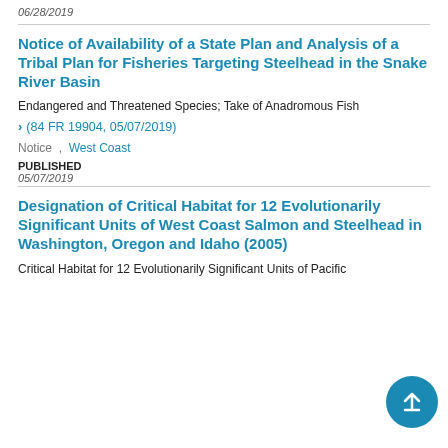06/28/2019
Notice of Availability of a State Plan and Analysis of a Tribal Plan for Fisheries Targeting Steelhead in the Snake River Basin
Endangered and Threatened Species; Take of Anadromous Fish
(84 FR 19904, 05/07/2019)
Notice ,  West Coast
PUBLISHED
05/07/2019
Designation of Critical Habitat for 12 Evolutionarily Significant Units of West Coast Salmon and Steelhead in Washington, Oregon and Idaho (2005)
Critical Habitat for 12 Evolutionarily Significant Units of Pacific